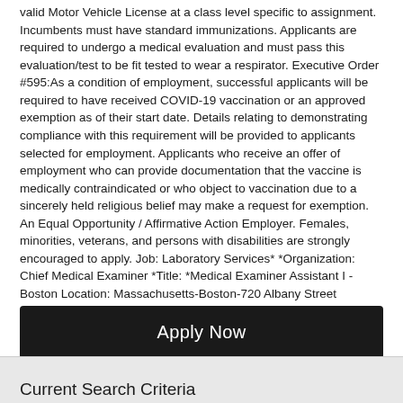valid Motor Vehicle License at a class level specific to assignment. Incumbents must have standard immunizations. Applicants are required to undergo a medical evaluation and must pass this evaluation/test to be fit tested to wear a respirator. Executive Order #595:As a condition of employment, successful applicants will be required to have received COVID-19 vaccination or an approved exemption as of their start date. Details relating to demonstrating compliance with this requirement will be provided to applicants selected for employment. Applicants who receive an offer of employment who can provide documentation that the vaccine is medically contraindicated or who object to vaccination due to a sincerely held religious belief may make a request for exemption. An Equal Opportunity / Affirmative Action Employer. Females, minorities, veterans, and persons with disabilities are strongly encouraged to apply. Job: Laboratory Services* *Organization: Chief Medical Examiner *Title: *Medical Examiner Assistant I - Boston Location: Massachusetts-Boston-720 Albany Street Requisition ID: 220006WT
Apply Now
Current Search Criteria